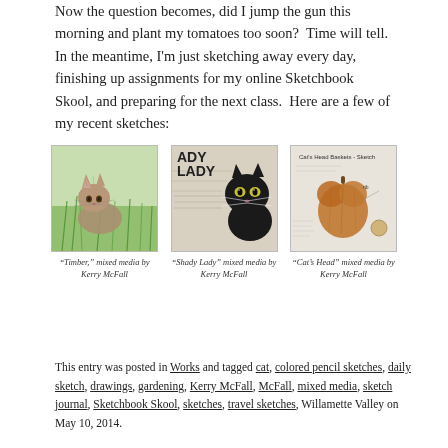Now the question becomes, did I jump the gun this morning and plant my tomatoes too soon?  Time will tell.  In the meantime, I'm just sketching away every day, finishing up assignments for my online Sketchbook Skool, and preparing for the next class.  Here are a few of my recent sketches:
[Figure (illustration): Watercolor sketch of a cat (Timber) in green grass, mixed media by Kerry McFall]
“Timber,” mixed media by Kerry McFall
[Figure (illustration): Mixed media sketch of a black cat (Shady Lady) with text/journal pages in background, by Kerry McFall]
“Shady Lady” mixed media by Kerry McFall
[Figure (illustration): Mixed media sketch of a Cat's Head basket (squash), annotated with handwritten notes, by Kerry McFall]
“Cat’s Head” mixed media by Kerry McFall
This entry was posted in Works and tagged cat, colored pencil sketches, daily sketch, drawings, gardening, Kerry McFall, McFall, mixed media, sketch journal, Sketchbook Skool, sketches, travel sketches, Willamette Valley on May 10, 2014.